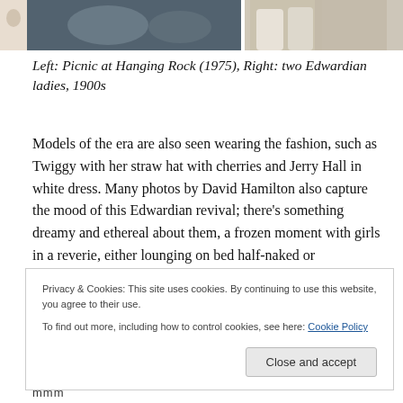[Figure (photo): Two side-by-side photographs: left shows a scene from Picnic at Hanging Rock (1975), right shows two Edwardian ladies from the 1900s.]
Left: Picnic at Hanging Rock (1975), Right: two Edwardian ladies, 1900s
Models of the era are also seen wearing the fashion, such as Twiggy with her straw hat with cherries and Jerry Hall in white dress. Many photos by David Hamilton also capture the mood of this Edwardian revival; there’s something dreamy and ethereal about them, a frozen moment with girls in a reverie, either lounging on bed half-naked or
Privacy & Cookies: This site uses cookies. By continuing to use this website, you agree to their use.
To find out more, including how to control cookies, see here: Cookie Policy
[Close and accept]
mmm